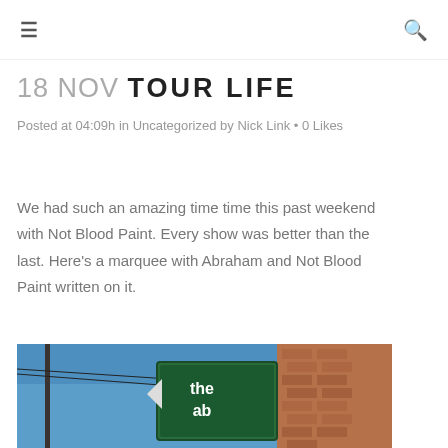☰  🔍
18 NOV TOUR LIFE
Posted at 04:09h in Uncategorized by Nick Link · 0 Likes
We had such an amazing time time this past weekend with Not Blood Paint. Every show was better than the last. Here's a marquee with Abraham and Not Blood Paint written on it.
[Figure (photo): Street-level photo showing a marquee sign reading 'the ab' against a blue sky with a brick building on the right]